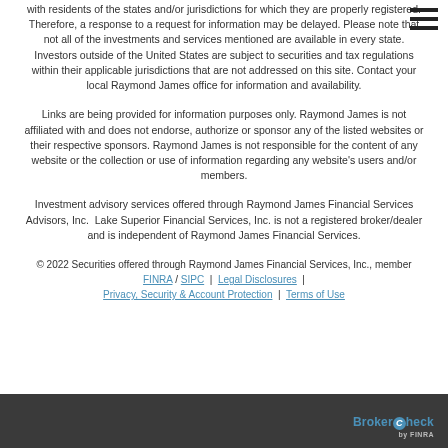with residents of the states and/or jurisdictions for which they are properly registered. Therefore, a response to a request for information may be delayed. Please note that not all of the investments and services mentioned are available in every state. Investors outside of the United States are subject to securities and tax regulations within their applicable jurisdictions that are not addressed on this site. Contact your local Raymond James office for information and availability.
Links are being provided for information purposes only. Raymond James is not affiliated with and does not endorse, authorize or sponsor any of the listed websites or their respective sponsors. Raymond James is not responsible for the content of any website or the collection or use of information regarding any website's users and/or members.
Investment advisory services offered through Raymond James Financial Services Advisors, Inc.  Lake Superior Financial Services, Inc. is not a registered broker/dealer and is independent of Raymond James Financial Services.
© 2022 Securities offered through Raymond James Financial Services, Inc., member FINRA / SIPC | Legal Disclosures | Privacy, Security & Account Protection | Terms of Use
[Figure (logo): BrokerCheck logo in footer bar]